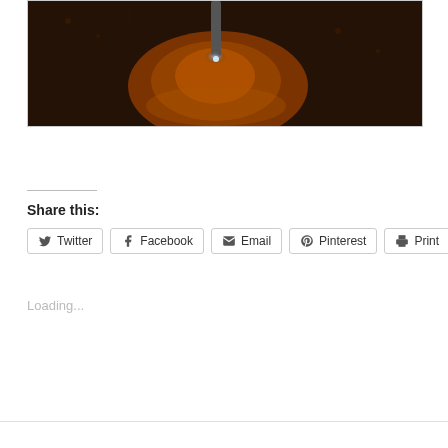[Figure (photo): Close-up photo of a drilling or machining process — a metallic drill bit boring into a reddish-orange workpiece surrounded by dark debris/chips, illuminated with a bright blue-white light at the point of contact.]
Share this:
Twitter
Facebook
Email
Pinterest
Print
Loading...